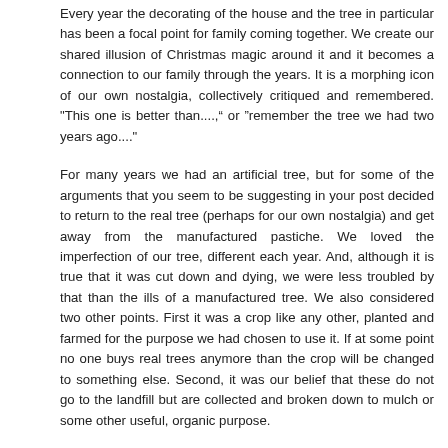Every year the decorating of the house and the tree in particular has been a focal point for family coming together. We create our shared illusion of Christmas magic around it and it becomes a connection to our family through the years. It is a morphing icon of our own nostalgia, collectively critiqued and remembered. "This one is better than....," or "remember the tree we had two years ago...."
For many years we had an artificial tree, but for some of the arguments that you seem to be suggesting in your post decided to return to the real tree (perhaps for our own nostalgia) and get away from the manufactured pastiche. We loved the imperfection of our tree, different each year. And, although it is true that it was cut down and dying, we were less troubled by that than the ills of a manufactured tree. We also considered two other points. First it was a crop like any other, planted and farmed for the purpose we had chosen to use it. If at some point no one buys real trees anymore than the crop will be changed to something else. Second, it was our belief that these do not go to the landfill but are collected and broken down to mulch or some other useful, organic purpose.